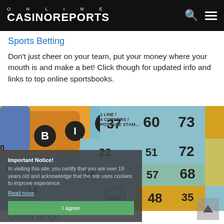ONLINE CASINOREPORTS
Sports Betting
Don't just cheer on your team, put your money where your mouth is and make a bet! Click though for updated info and links to top online sportsbooks.
[Figure (photo): Close-up photo of a bingo card showing numbers including 22, 37, 60, 73, 72, 36, 51, 68, 57, FREE, 48, 35, 20, with orange, blue, and yellow colored tiles. The letters B, I, N are visible at the top.]
Important Notice!
In visiting this site, you certify that you are over 18 years old and acknowledge that the site uses cookies to improve experience.
Read more
I agree
Online Bingo